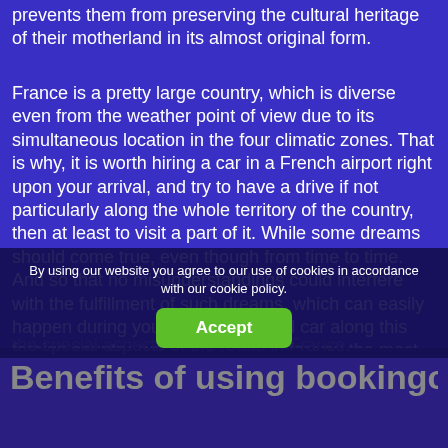people of our time. While this helps rather than prevents them from preserving the cultural heritage of their motherland in its almost original form.
France is a pretty large country, which is diverse even from the weather point of view due to its simultaneous location in the four climatic zones. That is why, it is worth hiring a car in a French airport right upon your arrival, and try to have a drive if not particularly along the whole territory of the country, then at least to visit a part of it. While some dreams should come true, even though from time to time. And so that no misunderstandings could interfere with the fulfillment of such dreams, which can easily happen during your trip in a booked car along this foreign country, we have prepared for you the most useful information about the special aspects of the roads in France.
By using our website you agree to our use of cookies in accordance with our cookie policy.
Accept
Benefits of using bookingcar